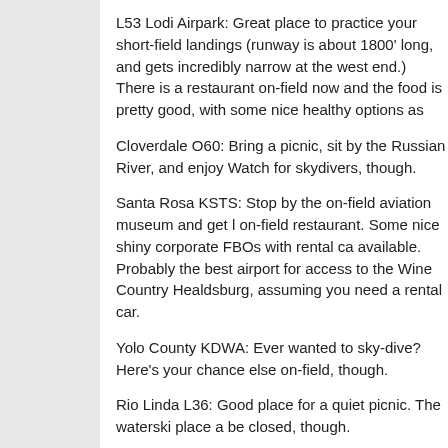L53 Lodi Airpark: Great place to practice your short-field landings (runway is about 1800' long, and gets incredibly narrow at the west end.) There is a restaurant on-field now and the food is pretty good, with some nice healthy options as
Cloverdale O60: Bring a picnic, sit by the Russian River, and enjoy Watch for skydivers, though.
Santa Rosa KSTS: Stop by the on-field aviation museum and get l on-field restaurant. Some nice shiny corporate FBOs with rental ca available. Probably the best airport for access to the Wine Country Healdsburg, assuming you need a rental car.
Yolo County KDWA: Ever wanted to sky-dive? Here's your chance else on-field, though.
Rio Linda L36: Good place for a quiet picnic. The waterski place a be closed, though.
Lincoln KLHM: Good pilot's lounge and great picnic area. Kracon F (on-field) is really top-notch.
Placerville KPVF: Call Lightning Taxi for a ride into the restored olo Rush town.